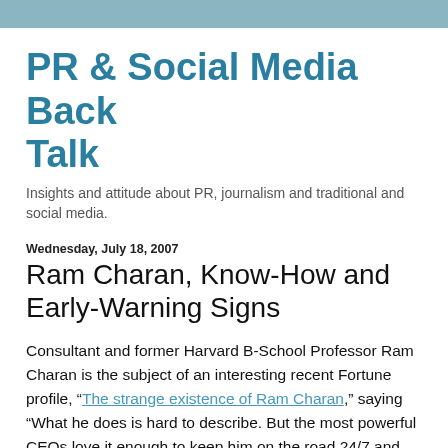PR & Social Media Back Talk
Insights and attitude about PR, journalism and traditional and social media.
Wednesday, July 18, 2007
Ram Charan, Know-How and Early-Warning Signs
Consultant and former Harvard B-School Professor Ram Charan is the subject of an interesting recent Fortune profile, “The strange existence of Ram Charan,” saying “What he does is hard to describe. But the most powerful CEOs love it enough to keep him on the road 24/7 and make him the most